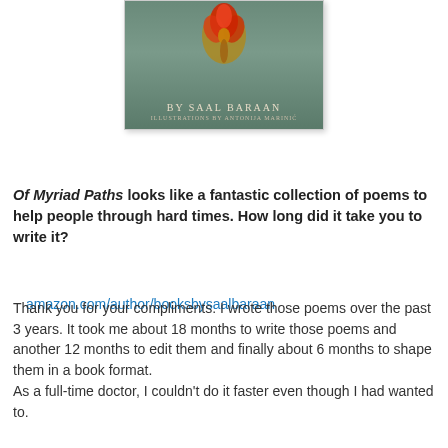[Figure (illustration): Book cover image showing a botanical/floral element (dried flower or pomegranate) in red and brown tones against a blurred green background, with text 'BY SAAL BARAAN' and 'ILLUSTRATIONS BY ANTONIJA MARINIĆ']
amazon.com/author/booksbysaalbaraan
Of Myriad Paths looks like a fantastic collection of poems to help people through hard times. How long did it take you to write it?
Thank you for your compliments. I wrote those poems over the past 3 years. It took me about 18 months to write those poems and another 12 months to edit them and finally about 6 months to shape them in a book format.
As a full-time doctor, I couldn't do it faster even though I had wanted to.